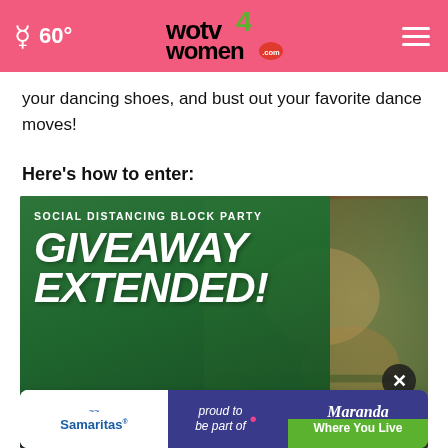60° wotv4women.com
your dancing shoes, and bust out your favorite dance moves!
Here's how to enter:
[Figure (photo): Social Distancing Block Party Giveaway Extended promotional image with green overlay, large white italic text reading GIVEAWAY EXTENDED!, entries due by May 18th, and a DJ hands photo in background. Includes a Samaritas / Maranda Where You Live ad banner at the bottom.]